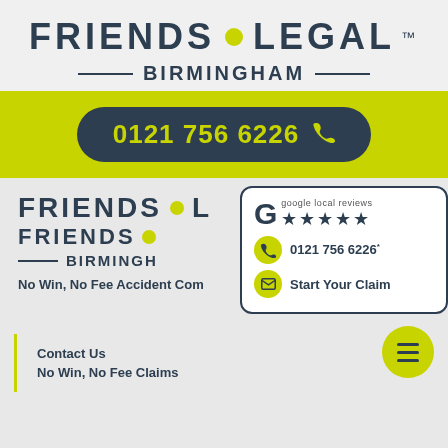FRIENDS LEGAL™ BIRMINGHAM
0121 756 6226
[Figure (logo): Friends Legal Birmingham logo with yellow dot, Birmingham subheading]
google local reviews ★★★★★
0121 756 6226
Start Your Claim
No Win, No Fee Accident Comp...
Contact Us
No Win, No Fee Claims